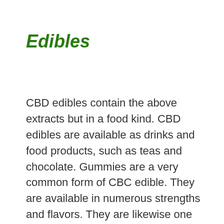Edibles
CBD edibles contain the above extracts but in a food kind. CBD edibles are available as drinks and food products, such as teas and chocolate. Gummies are a very common form of CBC edible. They are available in numerous strengths and flavors. They are likewise one of the best options to aid with sleep.